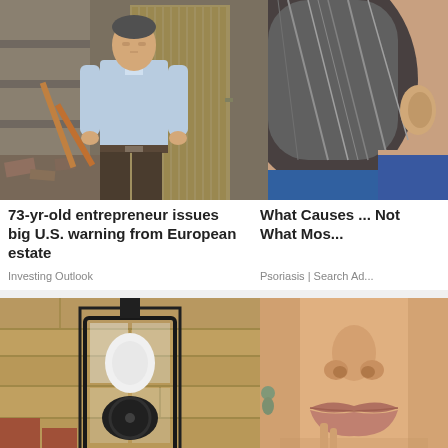[Figure (photo): Man in light blue shirt and dark trousers standing outdoors near wooden door and rubble]
[Figure (photo): Close-up of back of person's head showing grey/dark hair and ear, partial shoulder with blue clothing]
73-yr-old entrepreneur issues big U.S. warning from European estate
Investing Outlook
What Causes ... Not What Mos...
Psoriasis | Search Ad...
[Figure (photo): Black wall-mounted lantern light fixture with camera/security bulb installed, on textured stone wall]
[Figure (photo): Close-up of woman's face showing nose and lips, wearing turquoise earrings, partial white top]